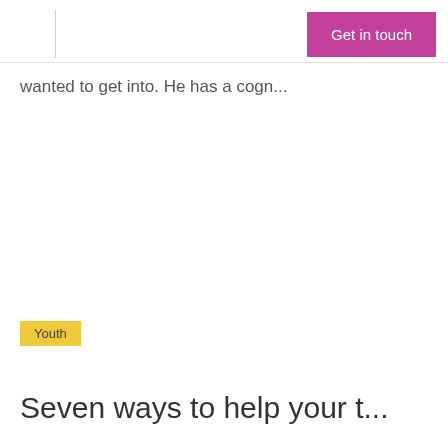Get in touch
wanted to get into. He has a cogn...
Youth
Seven ways to help your t...